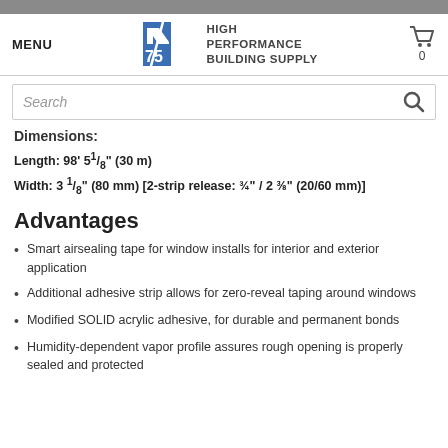475 HIGH PERFORMANCE BUILDING SUPPLY
Dimensions:
Length: 98' 5 1/8" (30 m)
Width: 3 1/8" (80 mm) [2-strip release: 3/4" / 2 3/8" (20/60 mm)]
Advantages
Smart airsealing tape for window installs for interior and exterior application
Additional adhesive strip allows for zero-reveal taping around windows
Modified SOLID acrylic adhesive, for durable and permanent bonds
Humidity-dependent vapor profile assures rough opening is properly sealed and protected